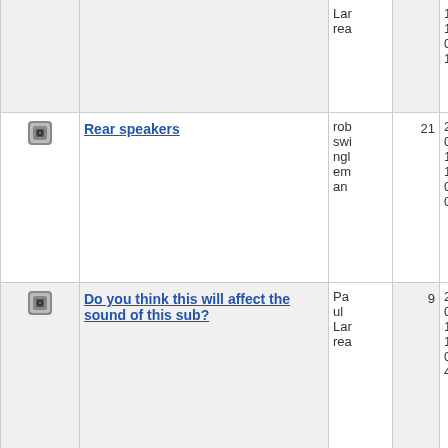|  | Topic | Author | Replies | Last Post |
| --- | --- | --- | --- | --- |
| [icon] |  | Lar rea |  | 10- 11 01: 12 |
| [icon] | Rear speakers | rob swi ngl em an | 21 | 20 06- 10- 11 01: 00 |
| [icon] | Do you think this will affect the sound of this sub? | Pa ul Lar rea | 9 | 20 06- 10- 11 00: 46 |
| [icon] | Sorry noob question. | Pik | 12 | 20 |